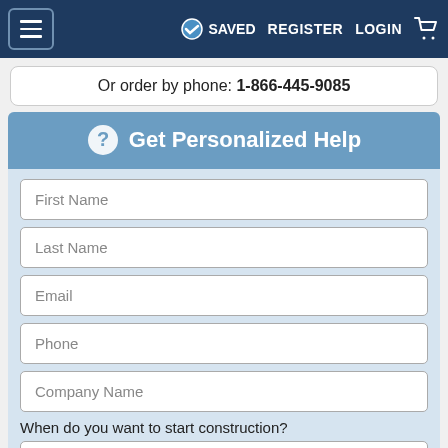≡  ✓ SAVED  REGISTER  LOGIN  🛒
Or order by phone: 1-866-445-9085
❓ Get Personalized Help
First Name
Last Name
Email
Phone
Company Name
When do you want to start construction?
- Select -